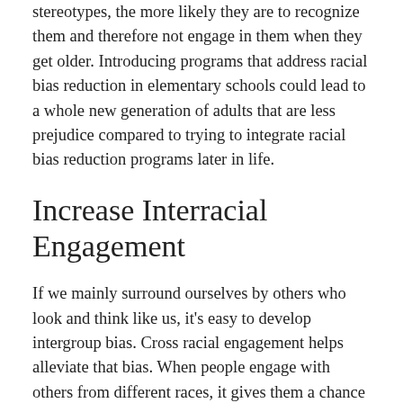stereotypes, the more likely they are to recognize them and therefore not engage in them when they get older. Introducing programs that address racial bias reduction in elementary schools could lead to a whole new generation of adults that are less prejudice compared to trying to integrate racial bias reduction programs later in life.
Increase Interracial Engagement
If we mainly surround ourselves by others who look and think like us, it's easy to develop intergroup bias. Cross racial engagement helps alleviate that bias. When people engage with others from different races, it gives them a chance to know them on a deeper level, therefore when they hear broad assumptions such as “All Black people are criminals”, they have a frame of reference that allows them to say “that is not true”. Cross-racial engagement not only leads to better understanding of other groups, but it can lead to better relationships as all White college students from a group with